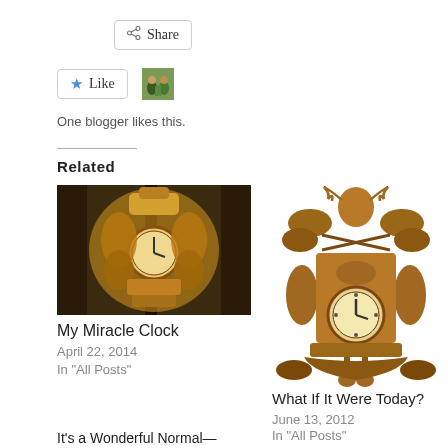[Figure (other): Share button with share icon]
[Figure (other): Like button with star icon and blogger avatar thumbnail]
One blogger likes this.
Related
[Figure (photo): Photo of an ornate cuckoo clock with golden decorations on dark background]
My Miracle Clock
April 22, 2014
In "All Posts"
[Figure (photo): Brown carved wooden cuckoo clock with deer and foliage decorations]
What If It Were Today?
June 13, 2012
In "All Posts"
It's a Wonderful Normal—